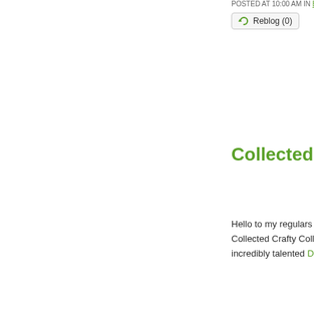POSTED AT 10:00 AM IN BE...
Reblog (0)
Collected Crafty...
Hello to my regulars an... Collected Crafty Collab... incredibly talented Don...
If this is your first time d... with Karen, Anna, and K...
1. We all love squ... Hence the squ... Girls.
2. That we wante... "squirreling" aw...
3. We wanted to...
As it turns out, there ar... monthly hop series! Ea... whether we wish to use...